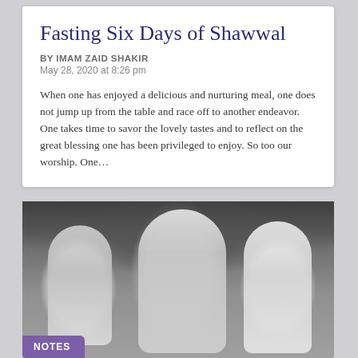Fasting Six Days of Shawwal
BY IMAM ZAID SHAKIR
May 28, 2020 at 8:26 pm
When one has enjoyed a delicious and nurturing meal, one does not jump up from the table and race off to another endeavor. One takes time to savor the lovely tastes and to reflect on the great blessing one has been privileged to enjoy. So too our worship. One…
[Figure (photo): Black and white photograph of three men standing outdoors. The center man is wearing traditional robes and a head covering, holding what appears to be a book. The men on the left and right are also wearing light-colored clothing. Trees are visible in the background.]